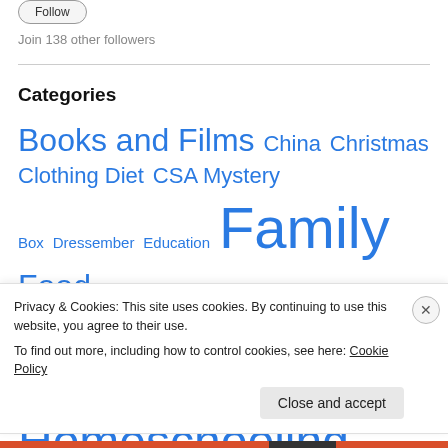Follow
Join 138 other followers
Categories
Books and Films  China  Christmas  Clothing Diet  CSA Mystery Box  Dressember  Education  Family  Food  Friends  Gingerbread  Hand made  Homeschooling  Memories  Music
Privacy & Cookies: This site uses cookies. By continuing to use this website, you agree to their use.
To find out more, including how to control cookies, see here: Cookie Policy
Close and accept